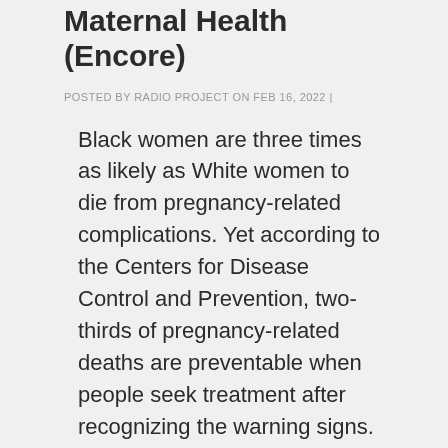Maternal Health (Encore)
POSTED BY RADIO PROJECT ON FEB 16, 2022 |
Black women are three times as likely as White women to die from pregnancy-related complications. Yet according to the Centers for Disease Control and Prevention, two-thirds of pregnancy-related deaths are preventable when people seek treatment after recognizing the warning signs. Care from doulas and midwives has also been shown to greatly improve women's health and well-being